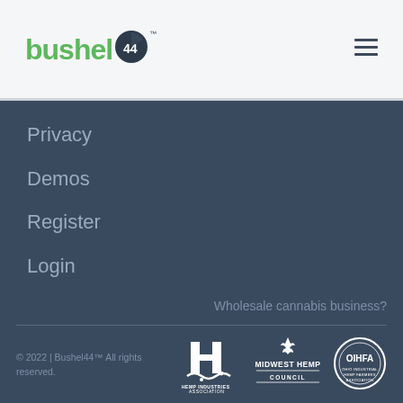[Figure (logo): Bushel44 logo with green text and dark circular icon with '44' branding, plus TM mark]
[Figure (other): Hamburger menu icon (three horizontal lines)]
Privacy
Demos
Register
Login
Wholesale cannabis business?
© 2022 | Bushel44™ All rights reserved.
[Figure (logo): Hemp Industries Association logo (white H with wave)]
[Figure (logo): Midwest Hemp Council logo (white text with hemp leaf)]
[Figure (logo): OIHFA circular seal logo]